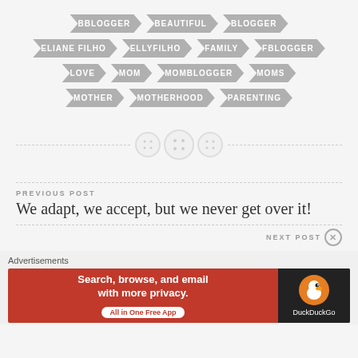BBLOGGER, BEAUTIFUL, BLOGGER, ELIANE FILHO, ELLYFILHO, FAMILY, FBLOGGER, LOVE, MOM, MOMBLOGGER, MOMS, MOTHER, MOTHERHOOD, PARENTING
[Figure (other): Decorative divider with dotted line and three circular button icons]
PREVIOUS POST
We adapt, we accept, but we never get over it!
NEXT POST
Advertisements
[Figure (other): DuckDuckGo advertisement banner: Search, browse, and email with more privacy. All in One Free App]